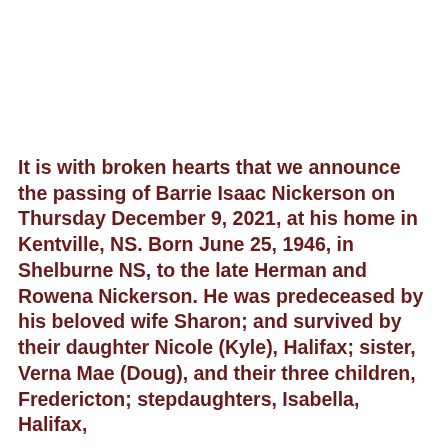It is with broken hearts that we announce the passing of Barrie Isaac Nickerson on Thursday December 9, 2021, at his home in Kentville, NS. Born June 25, 1946, in Shelburne NS, to the late Herman and Rowena Nickerson. He was predeceased by his beloved wife Sharon; and survived by their daughter Nicole (Kyle), Halifax; sister, Verna Mae (Doug), and their three children, Fredericton; stepdaughters, Isabella, Halifax,